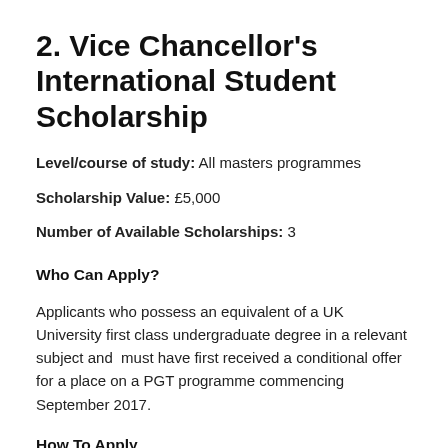2. Vice Chancellor's International Student Scholarship
Level/course of study: All masters programmes
Scholarship Value: £5,000
Number of Available Scholarships: 3
Who Can Apply?
Applicants who possess an equivalent of a UK University first class undergraduate degree in a relevant subject and  must have first received a conditional offer for a place on a PGT programme commencing September 2017.
How To Apply